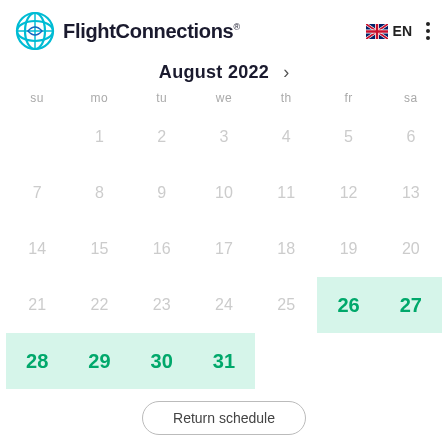FlightConnections
August 2022
| su | mo | tu | we | th | fr | sa |
| --- | --- | --- | --- | --- | --- | --- |
|  | 1 | 2 | 3 | 4 | 5 | 6 |
| 7 | 8 | 9 | 10 | 11 | 12 | 13 |
| 14 | 15 | 16 | 17 | 18 | 19 | 20 |
| 21 | 22 | 23 | 24 | 25 | 26 | 27 |
| 28 | 29 | 30 | 31 |  |  |  |
Return schedule